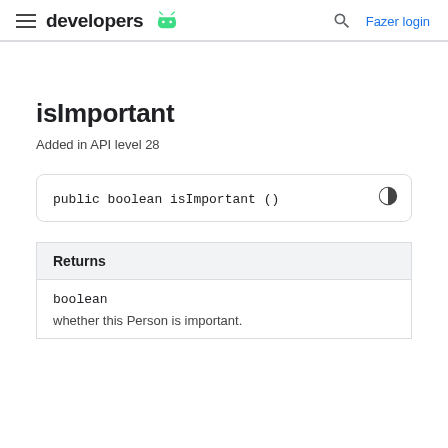developers | Fazer login
isImportant
Added in API level 28
| Returns |
| --- |
| boolean |
| whether this Person is important. |